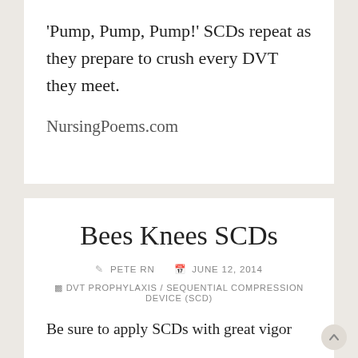'Pump, Pump, Pump!' SCDs repeat as they prepare to crush every DVT they meet.
NursingPoems.com
Bees Knees SCDs
PETE RN   JUNE 12, 2014
DVT PROPHYLAXIS / SEQUENTIAL COMPRESSION DEVICE (SCD)
Be sure to apply SCDs with great vigor